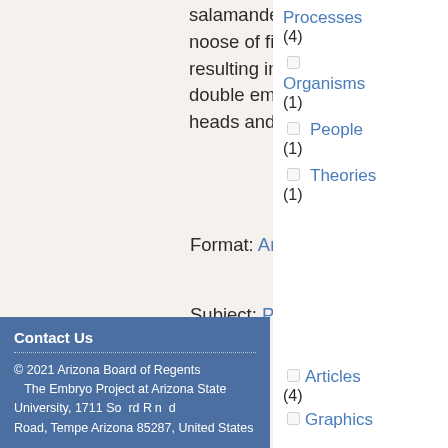salamander egg ... noose of fine bab... resulting in a par... double embryo w... heads and one ta...
Format: Articles
Subject: People
Processes (4)
Organisms (1)
People (1)
Theories (1)
Filter by Format
Articles (4)
Graphics
Contact Us
© 2021 Arizona Board of Regents
The Embryo Project at Arizona State University, 1711 South Rural Road, Tempe Arizona 85287, United States